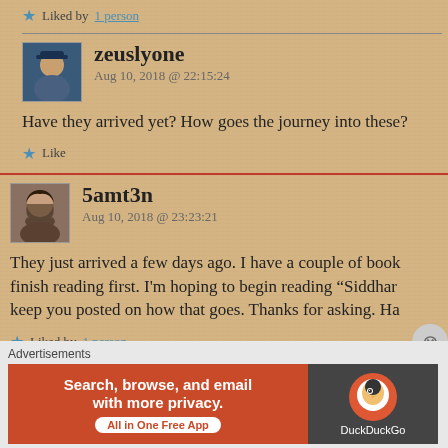Liked by 1 person
zeuslyone
Aug 10, 2018 @ 22:15:24
Have they arrived yet? How goes the journey into these?
Like
5amt3n
Aug 10, 2018 @ 23:23:21
They just arrived a few days ago. I have a couple of books to finish reading first. I'm hoping to begin reading “Siddhar keep you posted on how that goes. Thanks for asking. Ha
Liked by 1 person
Advertisements
[Figure (other): DuckDuckGo advertisement banner: 'Search, browse, and email with more privacy. All in One Free App' on orange background with DuckDuckGo logo on dark background]